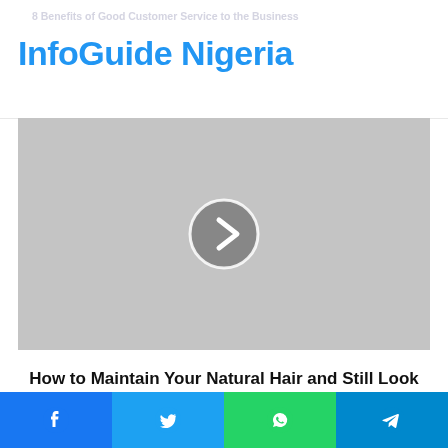InfoGuide Nigeria
8 Benefits of Good Customer Service to the Business
[Figure (screenshot): Gray placeholder image with a circular play/next button (chevron right) in the center, representing a slideshow or video thumbnail]
How to Maintain Your Natural Hair and Still Look Elegant
Related Articles
[Figure (infographic): Social media share bar with four buttons: Facebook (blue), Twitter (light blue), WhatsApp (green), Telegram (dark blue)]